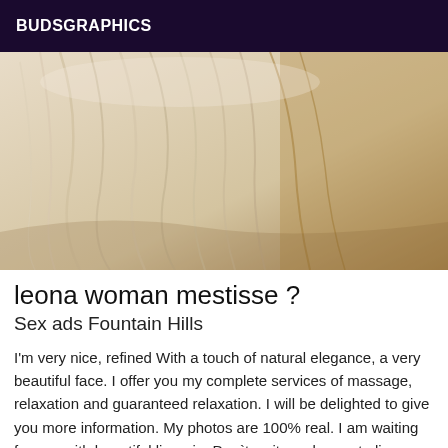BUDSGRAPHICS
[Figure (photo): Close-up photo of draped white/cream fabric or bedding with soft folds and warm golden-brown tones on the right side]
leona woman mestisse ?
Sex ads Fountain Hills
I'm very nice, refined With a touch of natural elegance, a very beautiful face. I offer you my complete services of massage, relaxation and guaranteed relaxation. I will be delighted to give you more information. My photos are 100% real. I am waiting for you with beautiful lingerie. Don`t wait any longer to live a moment of happiness and exceptional, and above all I am always in a good mood